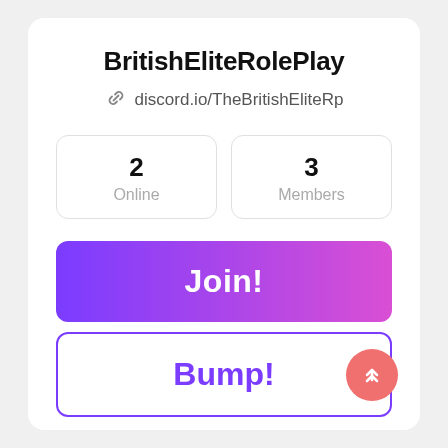BritishEliteRolePlay
discord.io/TheBritishEliteRp
| Online | Members |
| --- | --- |
| 2 | 3 |
Join!
Bump!